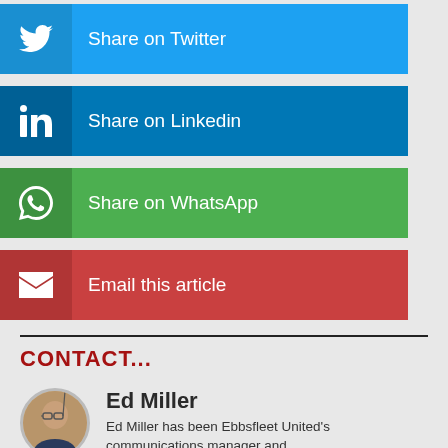[Figure (infographic): Twitter share button - blue background with Twitter bird icon and text 'Share on Twitter']
[Figure (infographic): LinkedIn share button - dark blue background with LinkedIn icon and text 'Share on Linkedin']
[Figure (infographic): WhatsApp share button - green background with WhatsApp icon and text 'Share on WhatsApp']
[Figure (infographic): Email share button - red background with envelope icon and text 'Email this article']
CONTACT...
[Figure (photo): Circular avatar photo of Ed Miller]
Ed Miller
Ed Miller has been Ebbsfleet United's communications manager and